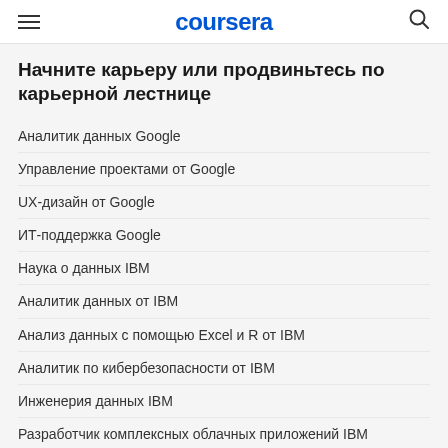coursera
Начните карьеру или продвиньтесь по карьерной лестнице
Аналитик данных Google
Управление проектами от Google
UX-дизайн от Google
ИТ-поддержка Google
Наука о данных IBM
Аналитик данных от IBM
Анализ данных с помощью Excel и R от IBM
Аналитик по кибербезопасности от IBM
Инженерия данных IBM
Разработчик комплексных облачных приложений IBM
Маркетинг в социальных сетях от Facebook
Маркетинговая аналитика Facebook